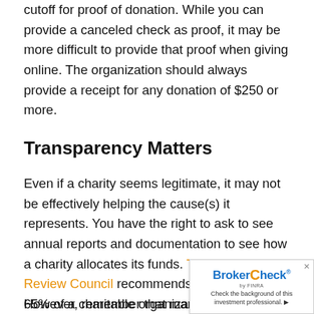cutoff for proof of donation. While you can provide a canceled check as proof, it may be more difficult to provide that proof when giving online. The organization should always provide a receipt for any donation of $250 or more.
Transparency Matters
Even if a charity seems legitimate, it may not be effectively helping the cause(s) it represents. You have the right to ask to see annual reports and documentation to see how a charity allocates its funds. The Charities Review Council recommends that at least 65% of a charitable organization's total expenses go toward its programs.
However, remember that many organiz...
[Figure (other): BrokerCheck advertisement box by FINRA with text: Check the background of this investment professional.]